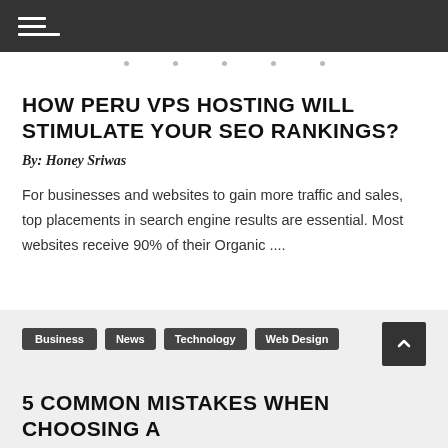Navigation menu header bar
HOW PERU VPS HOSTING WILL STIMULATE YOUR SEO RANKINGS?
By: Honey Sriwas
For businesses and websites to gain more traffic and sales, top placements in search engine results are essential. Most websites receive 90% of their Organic ....
Business  News  Technology  Web Design
5 COMMON MISTAKES WHEN CHOOSING A